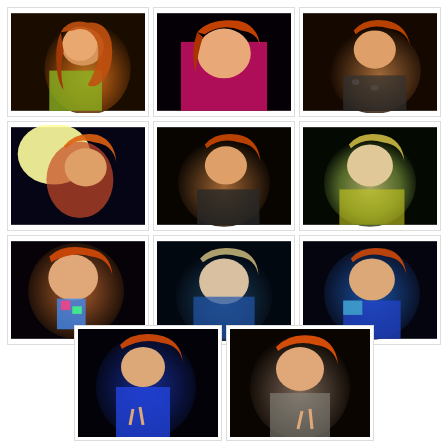[Figure (photo): Young woman with long auburn/red hair, wearing a yellow printed top, posing with hand raised near face. Dark background.]
[Figure (photo): Young woman with red hair, wearing a pink/magenta top with text, posing against dark background.]
[Figure (photo): Young woman with auburn/red hair wearing a dark patterned/animal print top, posing with head tilted.]
[Figure (photo): Young woman with red hair in sparkly top and colorful skirt, bright light in background.]
[Figure (photo): Young woman with auburn hair, wearing dark patterned top, posing with head tilted.]
[Figure (photo): Young woman with blonde hair wearing yellow top, posing against dark/green background.]
[Figure (photo): Young woman with red hair, wearing blue/colorful top, holding something colorful, close-up.]
[Figure (photo): Young woman with blonde/light hair wearing blue top, dark background with teal/green tones.]
[Figure (photo): Young woman with auburn hair, wearing blue top, posing against colorful background.]
[Figure (photo): Young woman with red hair, wearing blue top, making peace sign, dark background.]
[Figure (photo): Young woman with red/auburn hair, wearing grey top, making peace sign gesture.]